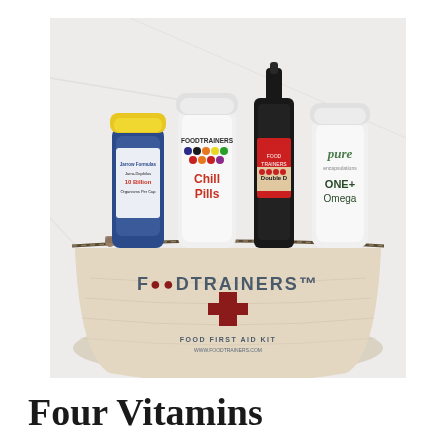[Figure (photo): A canvas pouch labeled 'FOODTRAINERS™ FOOD FIRST AID KIT www.foodtrainers.com' with a red cross emblem, containing four supplement bottles: a blue bottle with yellow cap (Jarrow Formulas 10 Billion probiotic), a white bottle labeled 'FOODTRAINERS Chill Pills', a dark dropper bottle labeled 'Double D', and a white bottle labeled 'pure ONE Omega'.]
Four Vitamins